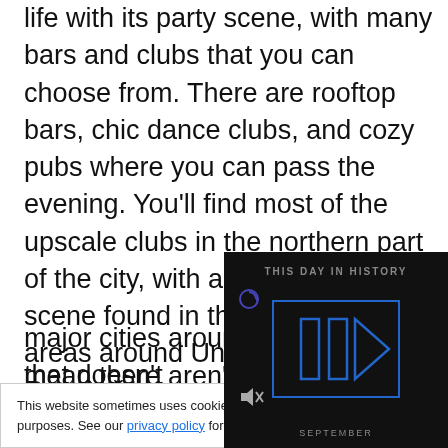life with its party scene, with many bars and clubs that you can choose from. There are rooftop bars, chic dance clubs, and cozy pubs where you can pass the evening. You'll find most of the upscale clubs in the northern part of the city, with a more casual scene found in the downtown areas around Universitate and Română.
Brussels has an active nightlife scene for those who seek it out. The city's nightlife is quieter and more mellow than some other major cities aroun... mean there aren't...
This website sometimes uses cookies for tracking purposes. See our privacy policy for more details.
[Figure (screenshot): Dark video player overlay showing 'THIS DAY IN HISTORY' with a blue play button graphic and 'SEPTEMBER' text at the bottom, with a mute icon in the lower left.]